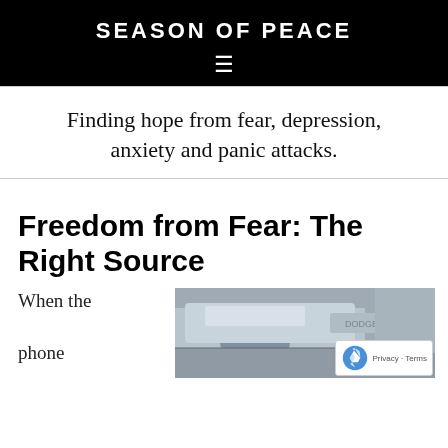SEASON OF PEACE
Finding hope from fear, depression, anxiety and panic attacks.
Freedom from Fear: The Right Source
When the phone
[Figure (photo): Photo of a person near a car, partially visible]